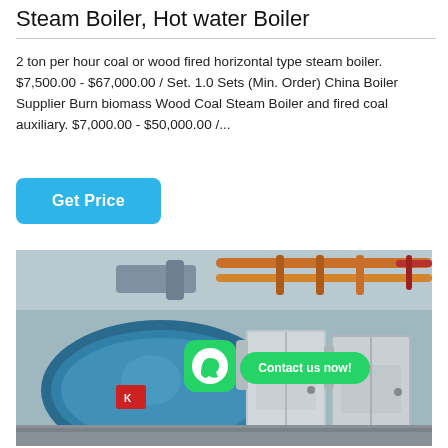Steam Boiler, Hot water Boiler
2 ton per hour coal or wood fired horizontal type steam boiler. $7,500.00 - $67,000.00 / Set. 1.0 Sets (Min. Order) China Boiler Supplier Burn biomass Wood Coal Steam Boiler and fired coal auxiliary. $7,000.00 - $50,000.00 /…
Get Price
[Figure (photo): Industrial steam boiler facility showing a large blue horizontal boiler with silver/stainless steel cabinet boilers, orange and red piping on ceiling, and a WhatsApp 'Contact us now!' overlay button]